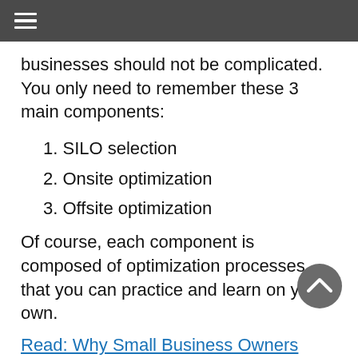≡
businesses should not be complicated. You only need to remember these 3 main components:
1. SILO selection
2. Onsite optimization
3. Offsite optimization
Of course, each component is composed of optimization processes that you can practice and learn on your own.
Read: Why Small Business Owners Should